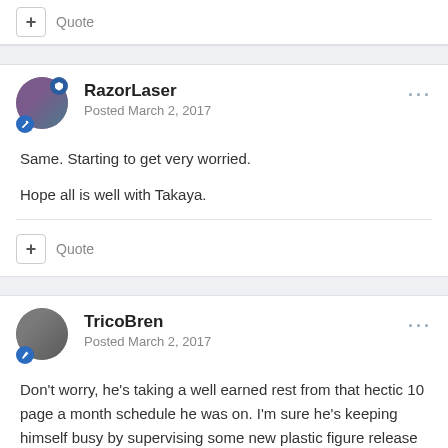+ Quote
RazorLaser
Posted March 2, 2017
Same. Starting to get very worried.

Hope all is well with Takaya.
+ Quote
TricoBren
Posted March 2, 2017
Don't worry, he's taking a well earned rest from that hectic 10 page a month schedule he was on. I'm sure he's keeping himself busy by supervising some new plastic figure release or